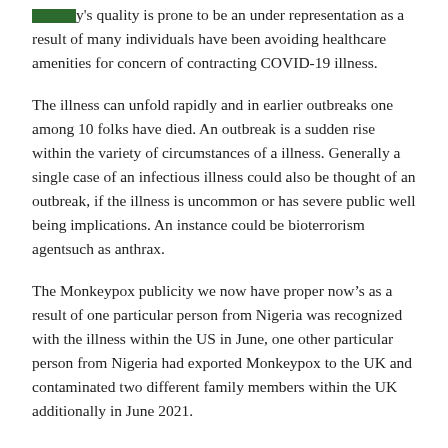y's quality is prone to be an under representation as a result of many individuals have been avoiding healthcare amenities for concern of contracting COVID-19 illness.
The illness can unfold rapidly and in earlier outbreaks one among 10 folks have died. An outbreak is a sudden rise within the variety of circumstances of a illness. Generally a single case of an infectious illness could also be thought of an outbreak, if the illness is uncommon or has severe public well being implications. An instance could be bioterrorism agentsuch as anthrax.
The Monkeypox publicity we now have proper now’s as a result of one particular person from Nigeria was recognized with the illness within the US in June, one other particular person from Nigeria had exported Monkeypox to the UK and contaminated two different family members within the UK additionally in June 2021.